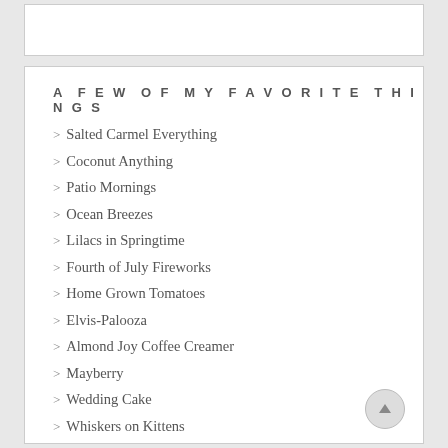A FEW OF MY FAVORITE THINGS
> Salted Carmel Everything
> Coconut Anything
> Patio Mornings
> Ocean Breezes
> Lilacs in Springtime
> Fourth of July Fireworks
> Home Grown Tomatoes
> Elvis-Palooza
> Almond Joy Coffee Creamer
> Mayberry
> Wedding Cake
> Whiskers on Kittens
> Homemade Peach Pie
> Bright, Sunshiny Days